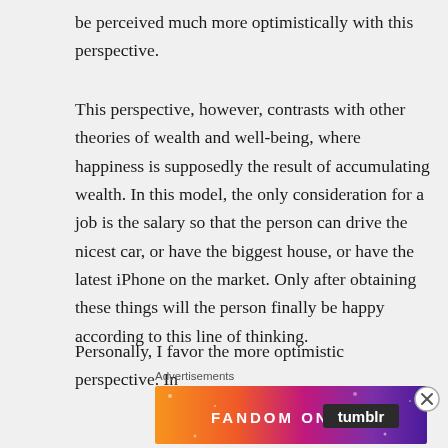be perceived much more optimistically with this perspective.
This perspective, however, contrasts with other theories of wealth and well-being, where happiness is supposedly the result of accumulating wealth. In this model, the only consideration for a job is the salary so that the person can drive the nicest car, or have the biggest house, or have the latest iPhone on the market. Only after obtaining these things will the person finally be happy according to this line of thinking.
Personally, I favor the more optimistic perspective. In
Advertisements
[Figure (other): Fandom on Tumblr advertisement banner with colorful gradient background from orange to purple with white text reading FANDOM ON tumblr]